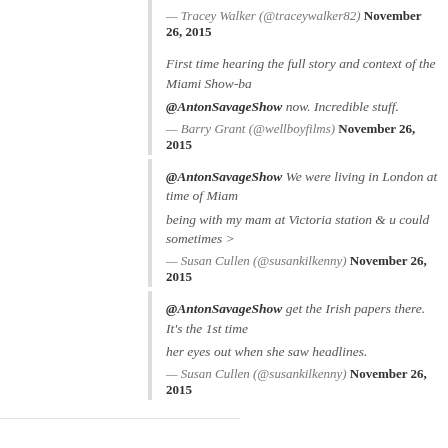— Tracey Walker (@traceywalker82) November 26, 2015
First time hearing the full story and context of the Miami Show-ba... @AntonSavageShow now. Incredible stuff.
— Barry Grant (@wellboyfilms) November 26, 2015
@AntonSavageShow We were living in London at time of Miami... being with my mam at Victoria station & u could sometimes >
— Susan Cullen (@susankilkenny) November 26, 2015
@AntonSavageShow get the Irish papers there. It's the 1st time... her eyes out when she saw headlines.
— Susan Cullen (@susankilkenny) November 26, 2015
Comments are closed.
Powered by WordPress | Designed by Elegant Themes